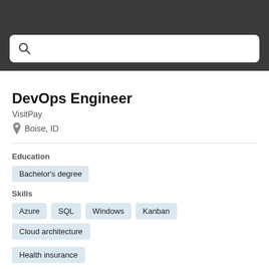DevOps Engineer
VisitPay
Boise, ID
Education
Bachelor's degree
Skills
Azure
SQL
Windows
Kanban
Cloud architecture
Health insurance
Reports To: DevOps Manager